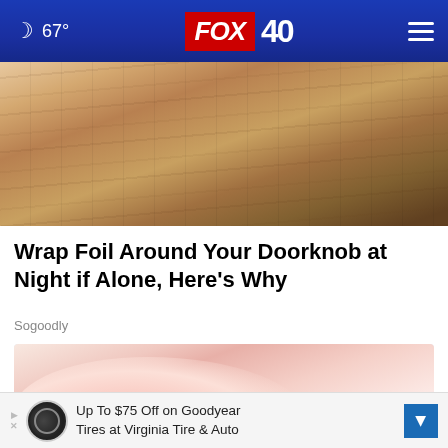🌙 67° FOX 40
[Figure (photo): Close-up photo of a wooden door or wall surface with wood grain texture visible, warm brown tones]
Wrap Foil Around Your Doorknob at Night if Alone, Here's Why
Sogoodly
[Figure (photo): Medical illustration of a foot or toe showing redness/inflammation at the joint area, against a light blue background]
Up To $75 Off on Goodyear Tires at Virginia Tire & Auto